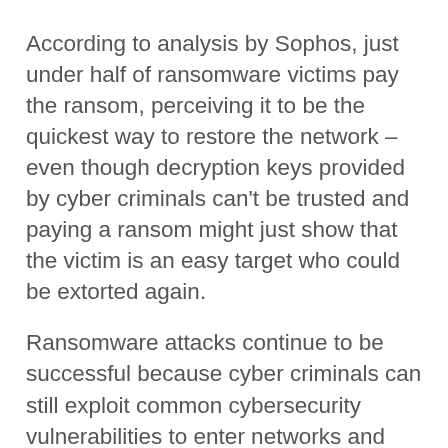According to analysis by Sophos, just under half of ransomware victims pay the ransom, perceiving it to be the quickest way to restore the network – even though decryption keys provided by cyber criminals can't be trusted and paying a ransom might just show that the victim is an easy target who could be extorted again.
Ransomware attacks continue to be successful because cyber criminals can still exploit common cybersecurity vulnerabilities to enter networks and carry out campaigns. But while ransomware is still a major cybersecurity issue, there are signs that the situation could be